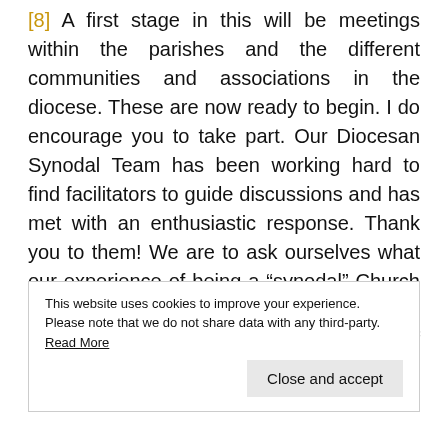[8] A first stage in this will be meetings within the parishes and the different communities and associations in the diocese. These are now ready to begin. I do encourage you to take part. Our Diocesan Synodal Team has been working hard to find facilitators to guide discussions and has met with an enthusiastic response. Thank you to them! We are to ask ourselves what our experience of being a “synodal” Church is, how it falls short and how we might better it.  The Pope calls for a process of discernment “that unfolds in adoration.
This website uses cookies to improve your experience.
Please note that we do not share data with any third-party. Read More
Close and accept